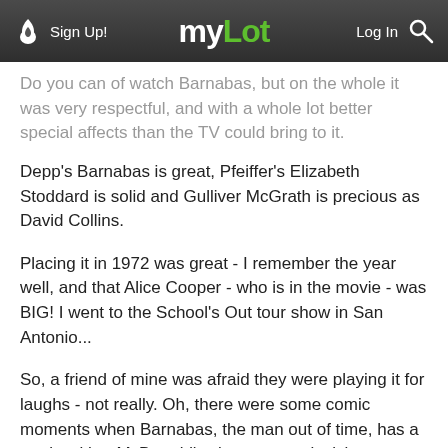myLot — Sign Up! / Log In
...very respectful, and with a whole lot better special affects than the TV could bring to it.
Depp's Barnabas is great, Pfeiffer's Elizabeth Stoddard is solid and Gulliver McGrath is precious as David Collins.
Placing it in 1972 was great - I remember the year well, and that Alice Cooper - who is in the movie - was BIG! I went to the School's Out tour show in San Antonio...
So, a friend of mine was afraid they were playing it for laughs - not really. Oh, there were some comic moments when Barnabas, the man out of time, has a run in with a McDonald's sign, a car, television, a LAVA LAMP!